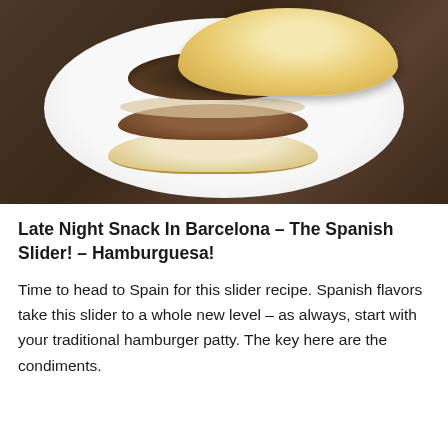[Figure (photo): A Spanish slider (hamburguesa) on a white plate — a burger patty topped with a dark sofrito/olive topping and a golden bun, shown open-faced on a white round plate against a dark background.]
Late Night Snack In Barcelona – The Spanish Slider! – Hamburguesa!
Time to head to Spain for this slider recipe. Spanish flavors take this slider to a whole new level – as always, start with your traditional hamburger patty. The key here are the condiments.